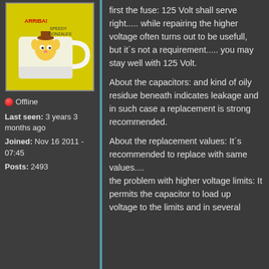[Figure (illustration): User avatar image showing a cartoon kangaroo or Speedy Gonzales character on a yellow mug]
🔴 Offline
Last seen: 3 years 3 months ago
Joined: Nov 16 2011 - 07:45
Posts: 2493
first the fuse: 125 Volt shall serve right..... while repairing the higher voltage often turns out to be usefull,
but it´s not a requirement..... you may stay well with 125 Volt.
About the capacitors: and kind of oily residue beneath indicates leakage and in such case a replacement is strong recommended.
About the replacement values: It´s recommended to replace with same values....
the problem with higher voltage limits: It permits the capacitor to load up
voltage to the limits and in several